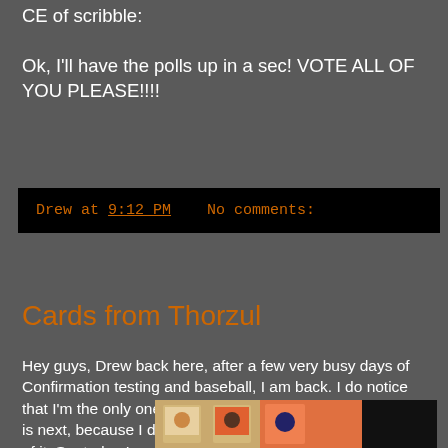CE of scribble:
Ok, I'll have the polls up in a sec! VOTE ALL OF YOU PLEASE!!!!
Drew at 9:12 PM    No comments:
Cards from Thorzul
Hey guys, Drew back here, after a few very busy days of Confirmation testing and baseball, I am back. I do notice that I'm the only one that hasn't started their bracket yet, that is next, because I don't want to get caught behind because of it. So, today I went 0-2 with 2 more walks and a reach on error, I also made a nice play at third and a few more things too. We won like 22-5 and we are now 6-0 to start the season! Anyway, Thorzul and I made a small trade recently and here's what I got:
[Figure (photo): Partial view of baseball trading cards, showing two card images side by side with a dark background on the right]